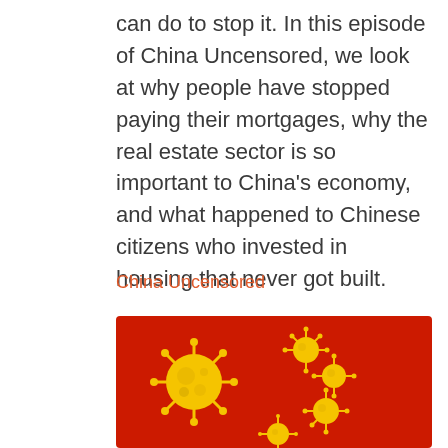can do to stop it. In this episode of China Uncensored, we look at why people have stopped paying their mortgages, why the real estate sector is so important to China's economy, and what happened to Chinese citizens who invested in housing that never got built.
China Uncensored
[Figure (illustration): A red background image showing gold-colored coronavirus particle models arranged in a pattern resembling the stars on the Chinese flag — one large virus particle on the left and four smaller ones arranged in an arc to the right.]